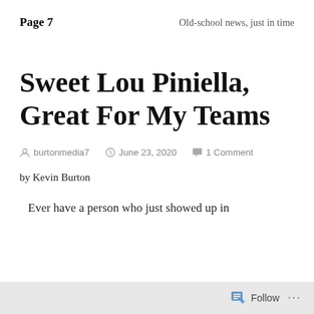Page 7   Old-school news, just in time
Sweet Lou Piniella, Great For My Teams
burtonmedia7   June 23, 2020   1 Comment
by Kevin Burton
Ever have a person who just showed up in